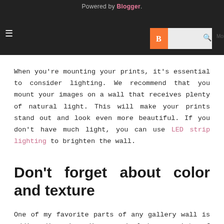Powered by Blogger.
When you're mounting your prints, it's essential to consider lighting. We recommend that you mount your images on a wall that receives plenty of natural light. This will make your prints stand out and look even more beautiful. If you don't have much light, you can use LED strip lighting to brighten the wall.
Don't forget about color and texture
One of my favorite parts of any gallery wall is adding dimension. You can include a variety of decorative items, such as paintings, photographs, sculptures, decorative wall clocks, and more.